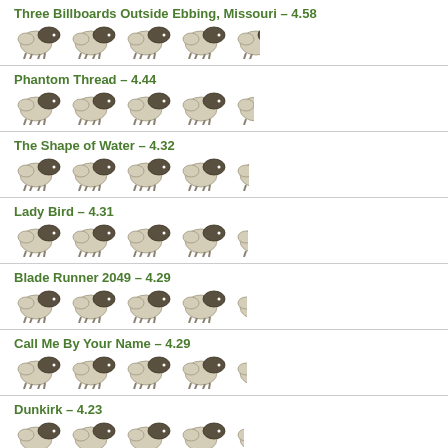Three Billboards Outside Ebbing, Missouri – 4.58
Phantom Thread – 4.44
The Shape of Water – 4.32
Lady Bird – 4.31
Blade Runner 2049 – 4.29
Call Me By Your Name – 4.29
Dunkirk – 4.23